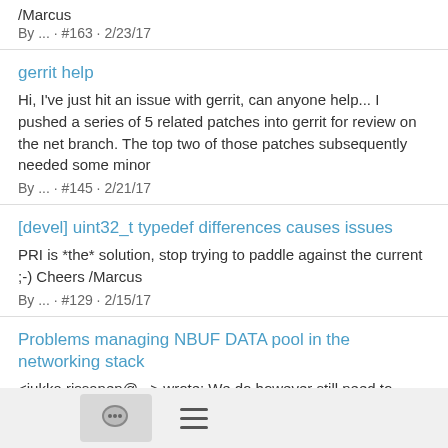/Marcus
By ... · #163 · 2/23/17
gerrit help
Hi, I've just hit an issue with gerrit, can anyone help... I pushed a series of 5 related patches into gerrit for review on the net branch. The top two of those patches subsequently needed some minor
By ... · #145 · 2/21/17
[devel] uint32_t typedef differences causes issues
PRI is *the* solution, stop trying to paddle against the current ;-) Cheers /Marcus
By ... · #129 · 2/15/17
Problems managing NBUF DATA pool in the networking stack
<jukka.rissanen@...> wrote: We do however still need to figure out, for udp, how to prevent: - rx path starving tx path to dead
[Figure (other): Bottom navigation bar with a speech bubble icon button and a hamburger menu icon]